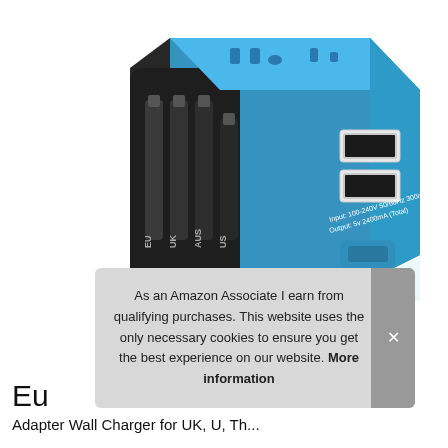[Figure (photo): A blue and black universal travel power adapter with retractable plugs labeled EU, UK, AUS, US on the left side, two USB ports on the right side, and spec text reading Input: 100-240V 50/60Hz 300mA, Output: 5v 2400mA (Total). The adapter is photographed on a white background with a subtle reflection below.]
As an Amazon Associate I earn from qualifying purchases. This website uses the only necessary cookies to ensure you get the best experience on our website. More information
Eu
Adapter Wall Charger for UK, US, Th...